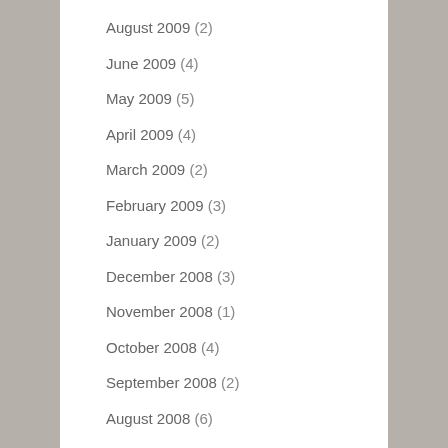August 2009 (2)
June 2009 (4)
May 2009 (5)
April 2009 (4)
March 2009 (2)
February 2009 (3)
January 2009 (2)
December 2008 (3)
November 2008 (1)
October 2008 (4)
September 2008 (2)
August 2008 (6)
July 2008 (4)
June 2008 (1)
May 2008 (7)